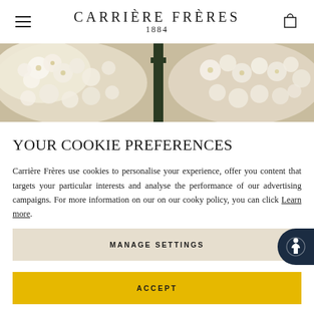Carrière Frères 1884
[Figure (photo): A wide horizontal banner showing white blossom flowers with a dark green bottle in the center, against a warm beige background.]
YOUR COOKIE PREFERENCES
Carrière Frères use cookies to personalise your experience, offer you content that targets your particular interests and analyse the performance of our advertising campaigns. For more information on our on our cooky policy, you can click Learn more.
MANAGE SETTINGS
ACCEPT